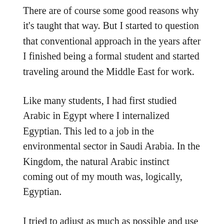There are of course some good reasons why it's taught that way. But I started to question that conventional approach in the years after I finished being a formal student and started traveling around the Middle East for work.
Like many students, I had first studied Arabic in Egypt where I internalized Egyptian. This led to a job in the environmental sector in Saudi Arabia. In the Kingdom, the natural Arabic instinct coming out of my mouth was, logically, Egyptian.
I tried to adjust as much as possible and use Saudi phrases. This was important diplomatically. Yes, it is true, while a foreigner who speaks any Arabic will get some “points” initially, after a certain period of time it